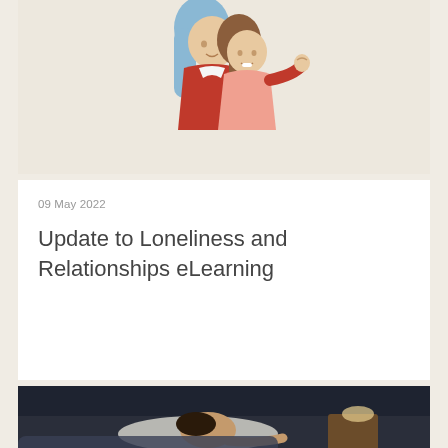[Figure (illustration): Illustrated image of two people hugging — one with blue hair wearing a red top, the other with long brown hair wearing a pink top. Set against a beige background.]
09 May 2022
Update to Loneliness and Relationships eLearning
[Figure (photo): Dark photo of a person lying in bed, partially visible, with what appears to be a nightstand in the background.]